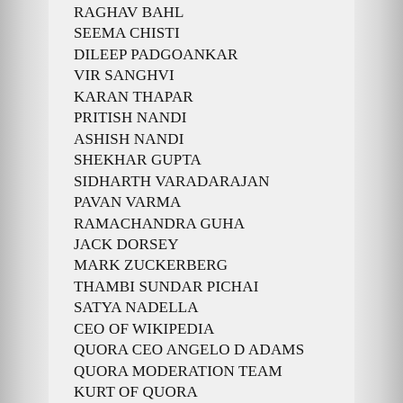RAGHAV BAHL
SEEMA CHISTI
DILEEP PADGOANKAR
VIR SANGHVI
KARAN THAPAR
PRITISH NANDI
ASHISH NANDI
SHEKHAR GUPTA
SIDHARTH VARADARAJAN
PAVAN VARMA
RAMACHANDRA GUHA
JACK DORSEY
MARK ZUCKERBERG
THAMBI SUNDAR PICHAI
SATYA NADELLA
CEO OF WIKIPEDIA
QUORA CEO ANGELO D ADAMS
QUORA MODERATION TEAM
KURT OF QUORA
GAUTAM SHEWAKRAMANI
SWAMY
RAJIV MALHOTRA